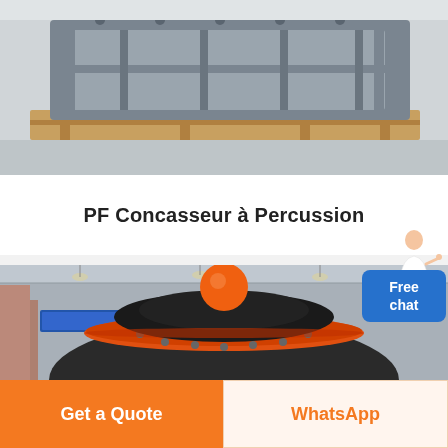[Figure (photo): Industrial machinery frame/chassis made of grey painted steel, sitting on wooden pallets in a factory or warehouse setting. Appears to be a heavy equipment frame or crusher housing component.]
PF Concasseur à Percussion
[Figure (photo): Large industrial impact crusher or cone crusher equipment photographed inside a factory/warehouse. The machine has a dark grey/black body with a distinctive orange ring/band around the upper section and an orange sphere on top. Industrial ceiling with lights visible in background.]
Get a Quote
WhatsApp